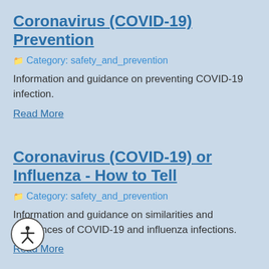Coronavirus (COVID-19) Prevention
Category: safety_and_prevention
Information and guidance on preventing COVID-19 infection.
Read More
Coronavirus (COVID-19) or Influenza - How to Tell
Category: safety_and_prevention
Information and guidance on similarities and differences of COVID-19 and influenza infections.
Read More